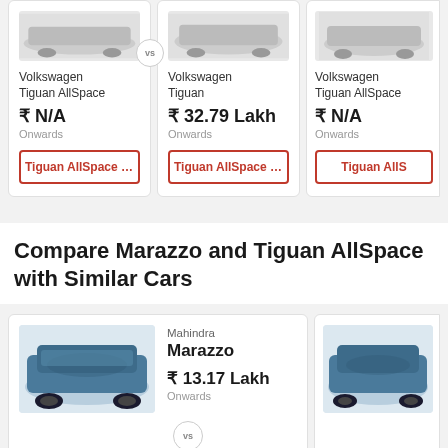[Figure (photo): Car comparison cards showing Volkswagen Tiguan AllSpace, Volkswagen Tiguan, and Volkswagen Tiguan AllSpace with prices and compare button]
Compare Marazzo and Tiguan AllSpace with Similar Cars
[Figure (photo): Comparison card showing Mahindra Marazzo at ₹13.17 Lakh Onwards vs Volkswagen Tiguan AllSpace]